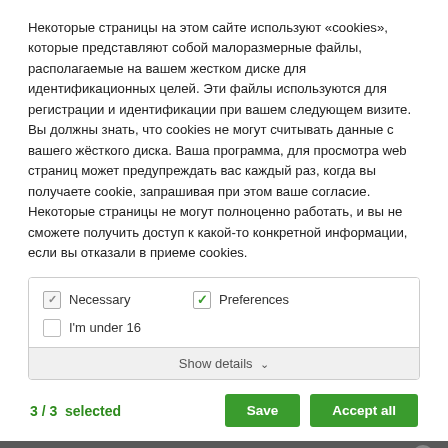Некоторые страницы на этом сайте используют «cookies», которые представляют собой малоразмерные файлы, располагаемые на вашем жестком диске для идентификационных целей. Эти файлы используются для регистрации и идентификации при вашем следующем визите. Вы должны знать, что cookies не могут считывать данные с вашего жёсткого диска. Ваша программа, для просмотра web страниц может предупреждать вас каждый раз, когда вы получаете cookie, запрашивая при этом ваше согласие. Некоторые страницы не могут полноценно работать, и вы не сможете получить доступ к какой-то конкретной информации, если вы отказали в приеме cookies.
[Figure (screenshot): Cookie consent panel with checkboxes: Necessary (checked, gray), Preferences (checked, green), I'm under 16 (unchecked). Show details dropdown button below.]
3 / 3  selected
Save
Accept all
Информация
© LS Management Group, Ltd. 2017-2021